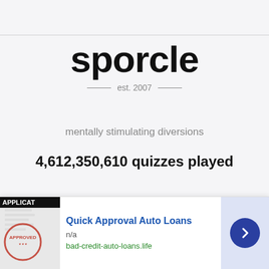sporcle
est. 2007
mentally stimulating diversions
4,612,350,610 quizzes played
Company
Resources
About Us
Feedback
Stats
Report a Problem
[Figure (screenshot): Advertisement banner for Quick Approval Auto Loans showing an approved loan application image, ad title, n/a rating, URL bad-credit-auto-loans.life, close button, and arrow navigation button]